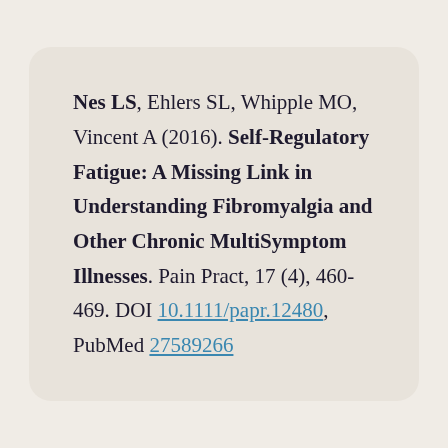Nes LS, Ehlers SL, Whipple MO, Vincent A (2016). Self-Regulatory Fatigue: A Missing Link in Understanding Fibromyalgia and Other Chronic MultiSymptom Illnesses. Pain Pract, 17 (4), 460-469. DOI 10.1111/papr.12480, PubMed 27589266